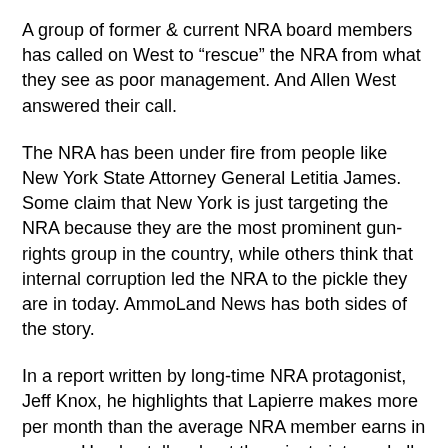A group of former & current NRA board members has called on West to “resue” the NRA from what they see as poor management. And Allen West answered their call.
The NRA has been under fire from people like New York State Attorney General Letitia James. Some claim that New York is just targeting the NRA because they are the most prominent gun-rights group in the country, while others think that internal corruption led the NRA to the pickle they are in today. AmmoLand News has both sides of the story.
In a report written by long-time NRA protagonist, Jeff Knox, he highlights that Lapierre makes more per month than the average NRA member earns in a year. He also talks about the private jets and all the extravagant spending. Jeff then reports how Allen West was early to publically question Lapierre when allegations of corruption first arose.